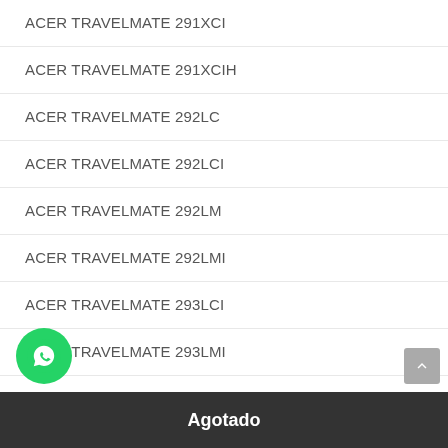ACER TRAVELMATE 291XCI
ACER TRAVELMATE 291XCIH
ACER TRAVELMATE 292LC
ACER TRAVELMATE 292LCI
ACER TRAVELMATE 292LM
ACER TRAVELMATE 292LMI
ACER TRAVELMATE 293LCI
ACER TRAVELMATE 293LMI
ACER TRAVELMATE 3000
Agotado